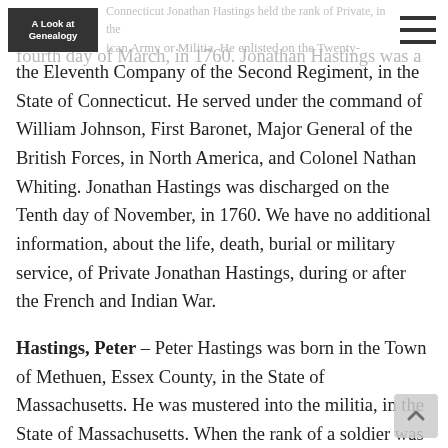A Look at Genealogy
Connecticut Jonathan Hastings held the rank of Private, in the American Army or Militia. He enlisted on the Twenty-fourth day of March, in 1760. Jonathan Hastings was a member of the Eleventh Company of the Second Regiment, in the State of Connecticut. He served under the command of William Johnson, First Baronet, Major General of the British Forces, in North America, and Colonel Nathan Whiting. Jonathan Hastings was discharged on the Tenth day of November, in 1760. We have no additional information, about the life, death, burial or military service, of Private Jonathan Hastings, during or after the French and Indian War.
Hastings, Peter – Peter Hastings was born in the Town of Methuen, Essex County, in the State of Massachusetts. He was mustered into the militia, in the State of Massachusetts. When the rank of a soldier was not listed, then the rank was usually that of Private, in the State of Massachusetts Militia. Peter Hastings was